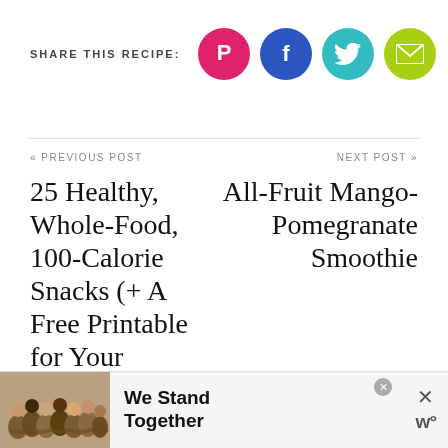SHARE THIS RECIPE:
[Figure (infographic): Four social share icons: Pinterest (pink circle with P), Facebook (blue circle with f), Twitter (teal circle with bird), Email (green circle with envelope)]
« PREVIOUS POST
NEXT POST »
25 Healthy, Whole-Food, 100-Calorie Snacks (+ A Free Printable for Your Kitchen)
All-Fruit Mango-Pomegranate Smoothie
[Figure (photo): Advertisement banner showing people standing together with arms around each other, with text 'We Stand Together' and a close button]